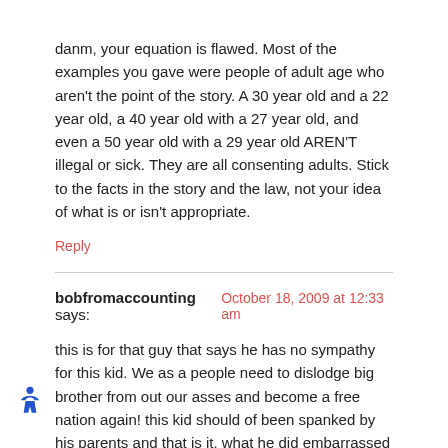danm, your equation is flawed. Most of the examples you gave were people of adult age who aren't the point of the story. A 30 year old and a 22 year old, a 40 year old with a 27 year old, and even a 50 year old with a 29 year old AREN'T illegal or sick. They are all consenting adults. Stick to the facts in the story and the law, not your idea of what is or isn't appropriate.
Reply
bobfromaccounting says:
October 18, 2009 at 12:33 am
this is for that guy that says he has no sympathy for this kid. We as a people need to dislodge big brother from out our asses and become a free nation again! this kid should of been spanked by his parents and that is it. what he did embarrassed his GF but should not end him up on the sex offender registry. that registry is for serious rapists and chomos not stupid kids. several people on that registry have been murdered by vigilantes. The police give out your address and work address to the general public and then drunken rednecks can come on by and kill you. this